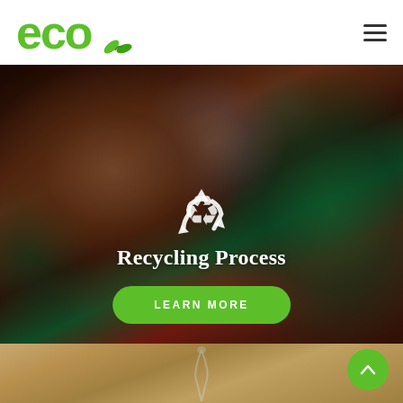[Figure (logo): Eco logo with green letters 'eco' and leaf icon]
[Figure (photo): Close-up photo of elderly hands holding coins against colorful fabric background, with recycling symbol icon and 'Recycling Process' text overlay and green 'LEARN MORE' button]
[Figure (photo): Partial view of a second image showing a glass figurine on wooden surface]